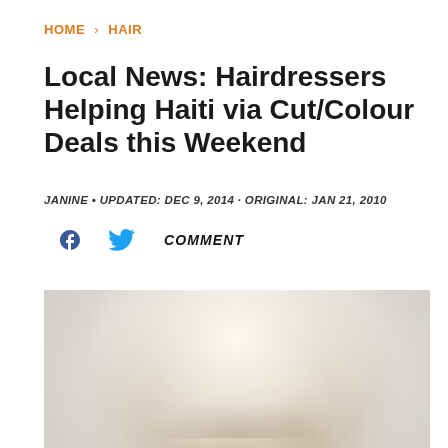HOME > HAIR
Local News: Hairdressers Helping Haiti via Cut/Colour Deals this Weekend
JANINE • UPDATED: DEC 9, 2014 · ORIGINAL: JAN 21, 2010
f  COMMENT
[Figure (photo): Close-up photo of a woman with platinum blonde hair, looking slightly upward, against a light background. Only the top portion of her face (forehead, eyes, and hair) is visible.]